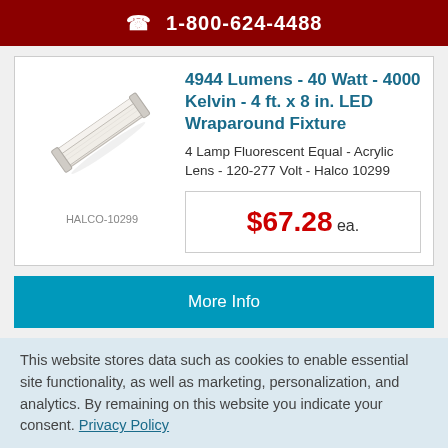1-800-624-4488
[Figure (photo): White LED wraparound fixture shown at an angle]
HALCO-10299
4944 Lumens - 40 Watt - 4000 Kelvin - 4 ft. x 8 in. LED Wraparound Fixture
4 Lamp Fluorescent Equal - Acrylic Lens - 120-277 Volt - Halco 10299
$67.28 ea.
More Info
This website stores data such as cookies to enable essential site functionality, as well as marketing, personalization, and analytics. By remaining on this website you indicate your consent. Privacy Policy